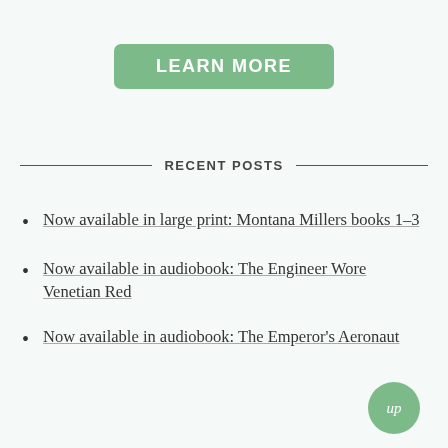[Figure (other): Green rounded button with bold white text 'LEARN MORE']
RECENT POSTS
Now available in large print: Montana Millers books 1–3
Now available in audiobook: The Engineer Wore Venetian Red
Now available in audiobook: The Emperor's Aeronaut